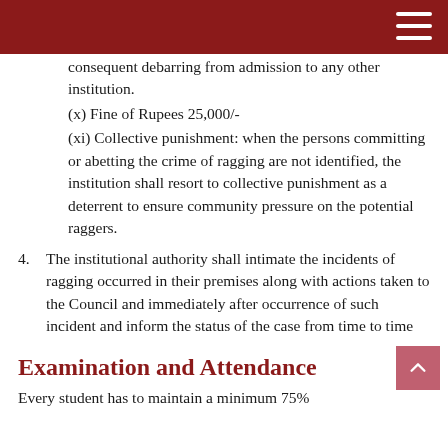consequent debarring from admission to any other institution.
(x) Fine of Rupees 25,000/-
(xi) Collective punishment: when the persons committing or abetting the crime of ragging are not identified, the institution shall resort to collective punishment as a deterrent to ensure community pressure on the potential raggers.
4. The institutional authority shall intimate the incidents of ragging occurred in their premises along with actions taken to the Council and immediately after occurrence of such incident and inform the status of the case from time to time
Examination and Attendance
Every student has to maintain a minimum 75%